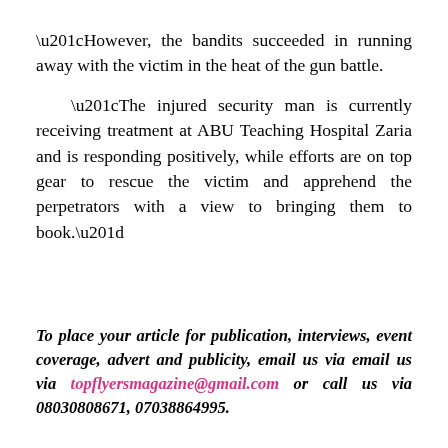“However, the bandits succeeded in running away with the victim in the heat of the gun battle.

“The injured security man is currently receiving treatment at ABU Teaching Hospital Zaria and is responding positively, while efforts are on top gear to rescue the victim and apprehend the perpetrators with a view to bringing them to book.”
To place your article for publication, interviews, event coverage, advert and publicity, email us via email us via topflyersmagazine@gmail.com or call us via 08030808671, 07038864995.